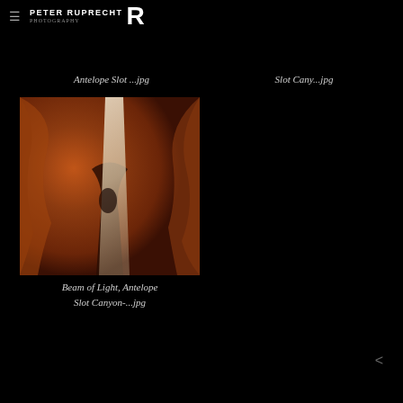PETER RUPRECHT
Antelope Slot ...jpg
Slot Cany...jpg
[Figure (photo): Photo of Antelope Slot Canyon showing orange-red sandstone walls with a beam of light cutting through the narrow canyon opening from above]
Beam of Light, Antelope Slot Canyon-...jpg